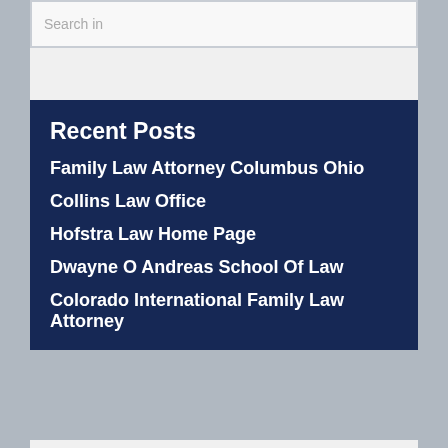Search in
Recent Posts
Family Law Attorney Columbus Ohio
Collins Law Office
Hofstra Law Home Page
Dwayne O Andreas School Of Law
Colorado International Family Law Attorney
Archives
August 2022
July 2022